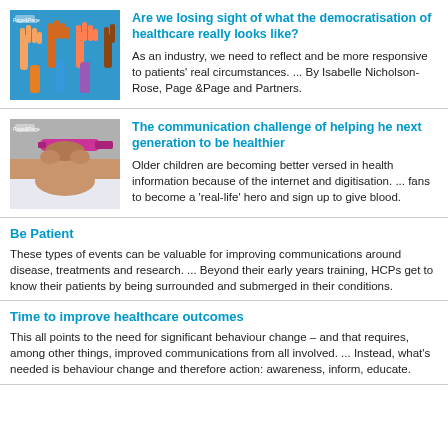[Figure (photo): Colorful illustration of raised hands in various colors on blue background with Page & Page logo]
Are we losing sight of what the democratisation of healthcare really looks like?
As an industry, we need to reflect and be more responsive to patients' real circumstances. ... By Isabelle Nicholson-Rose, Page &Page and Partners.
[Figure (photo): Photo of a person administering an injection pen with Page & Page logo]
The communication challenge of helping he next generation to be healthier
Older children are becoming better versed in health information because of the internet and digitisation. ... fans to become a 'real-life' hero and sign up to give blood.
Be Patient
These types of events can be valuable for improving communications around disease, treatments and research. ... Beyond their early years training, HCPs get to know their patients by being surrounded and submerged in their conditions.
Time to improve healthcare outcomes
This all points to the need for significant behaviour change – and that requires, among other things, improved communications from all involved. ... Instead, what's needed is behaviour change and therefore action: awareness, inform, educate.